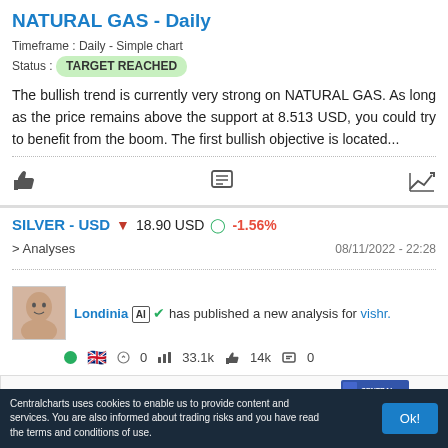NATURAL GAS - Daily
Timeframe : Daily - Simple chart
Status : TARGET REACHED
The bullish trend is currently very strong on NATURAL GAS. As long as the price remains above the support at 8.513 USD, you could try to benefit from the boom. The first bullish objective is located...
SILVER - USD 18.90 USD -1.56%
> Analyses
08/11/2022 - 22:28
Londinia [AI] ✓ has published a new analysis for vishr.
🟢 🇬🇧 0 33.1k 14k 0
[Figure (screenshot): Silver USD chart preview with CENTRAL CHARTS logo and partial circle graphic]
Centralcharts uses cookies to enable us to provide content and services. You are also informed about trading risks and you have read the terms and conditions of use.